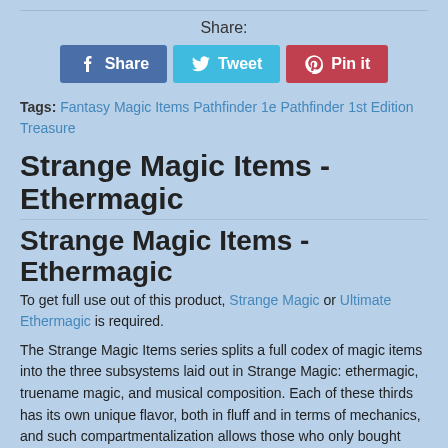[Figure (infographic): Social share buttons: Facebook Share (blue), Twitter Tweet (light blue), Pinterest Pin it (red)]
Tags: Fantasy Magic Items Pathfinder 1e Pathfinder 1st Edition Treasure
Strange Magic Items - Ethermagic
Strange Magic Items - Ethermagic
To get full use out of this product, Strange Magic or Ultimate Ethermagic is required.
The Strange Magic Items series splits a full codex of magic items into the three subsystems laid out in Strange Magic: ethermagic, truename magic, and musical composition. Each of these thirds has its own unique flavor, both in fluff and in terms of mechanics, and such compartmentalization allows those who only bought some of the constituent thirds of